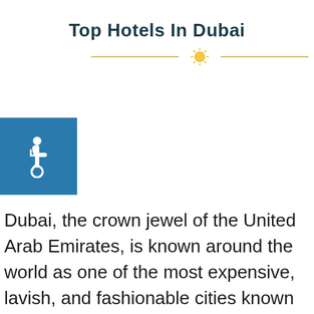Top Hotels In Dubai
[Figure (illustration): Decorative divider with a sun icon between two horizontal gold lines]
[Figure (illustration): Blue square icon with white wheelchair accessibility symbol]
Dubai, the crown jewel of the United Arab Emirates, is known around the world as one of the most expensive, lavish, and fashionable cities known to man. People go to Dubai to embark upon shopping sprees, or to hit the city and party through the night, or to behold the wonders of some of the most astonishing works of modern architecture in the world. The Burj Khalifa is the highest skyscraper in the world, and is 820 meters